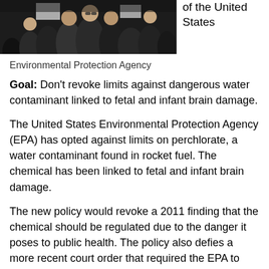[Figure (photo): Crowd of protesters at a demonstration, photographed from a low angle. People visible in the background holding signs.]
of the United States
Environmental Protection Agency
Goal: Don't revoke limits against dangerous water contaminant linked to fetal and infant brain damage.
The United States Environmental Protection Agency (EPA) has opted against limits on perchlorate, a water contaminant found in rocket fuel. The chemical has been linked to fetal and infant brain damage.
The new policy would revoke a 2011 finding that the chemical should be regulated due to the danger it poses to public health. The policy also defies a more recent court order that required the EPA to establish a safe-drinking water standard for the chemical by the end of June. According to agency staff, the EPA intends to send a